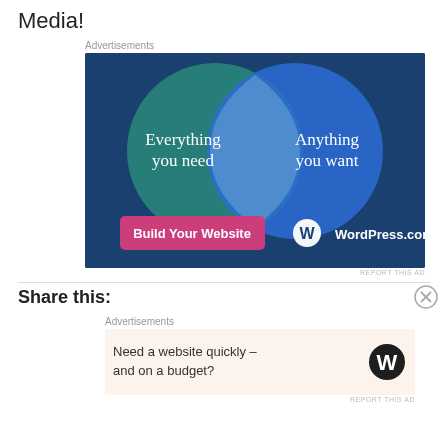Media!
Advertisements
[Figure (illustration): WordPress.com advertisement showing a Venn diagram with two overlapping circles on a dark blue background. Left green circle: 'Everything you need'. Right blue circle: 'Anything you want'. Pink button 'Build Your Website'. WordPress.com logo.]
REPORT THIS AD
Share this:
Advertisements
[Figure (illustration): WordPress.com advertisement with beige background. Text: 'Need a website quickly – and on a budget?' with WordPress logo.]
REPORT THIS AD